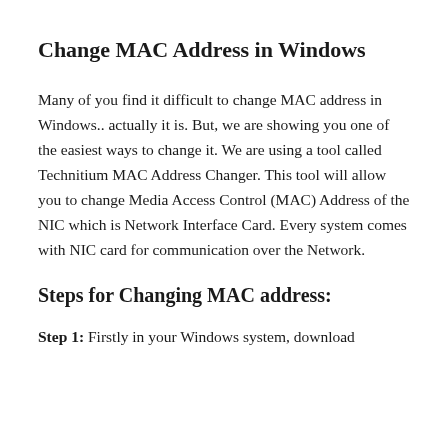Change MAC Address in Windows
Many of you find it difficult to change MAC address in Windows.. actually it is. But, we are showing you one of the easiest ways to change it. We are using a tool called Technitium MAC Address Changer. This tool will allow you to change Media Access Control (MAC) Address of the NIC which is Network Interface Card. Every system comes with NIC card for communication over the Network.
Steps for Changing MAC address:
Step 1: Firstly in your Windows system, download